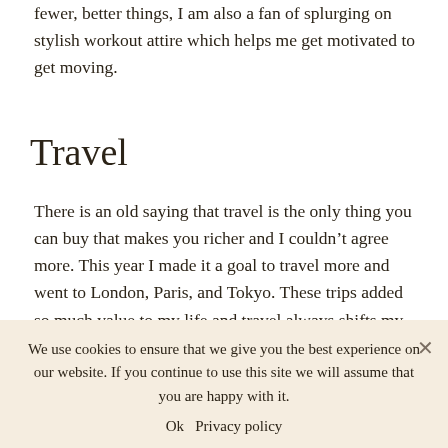fewer, better things, I am also a fan of splurging on stylish workout attire which helps me get motivated to get moving.
Travel
There is an old saying that travel is the only thing you can buy that makes you richer and I couldn't agree more. This year I made it a goal to travel more and went to London, Paris, and Tokyo. These trips added so much value to my life and travel always shifts my values and perspective. Priceless.
Self-Care
We use cookies to ensure that we give you the best experience on our website. If you continue to use this site we will assume that you are happy with it.
Ok   Privacy policy